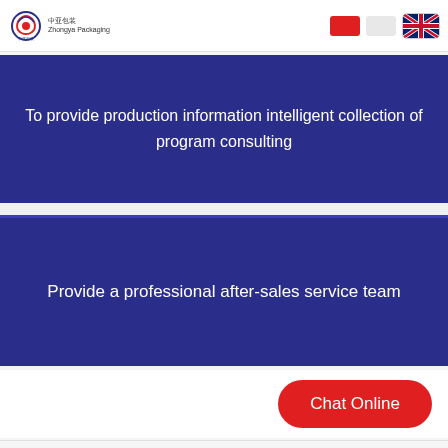[Figure (logo): Zhongya Packaging company logo — gear icon in red/blue with Chinese text 中亚包装 and English Zhongya Packaging]
To provide production information intelligent collection of program consulting
Provide a professional after-sales service team
Chat Online